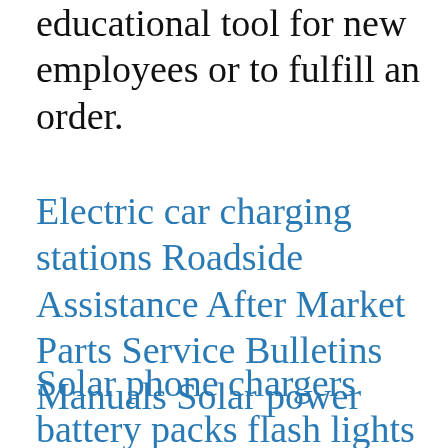educational tool for new employees or to fulfill an order.
Electric car charging stations Roadside Assistance After Market Parts Service Bulletins Manuals Solar power
Solar phone chargers battery packs flash lights LED light